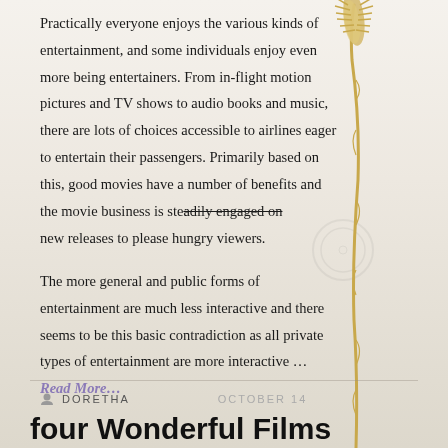Practically everyone enjoys the various kinds of entertainment, and some individuals enjoy even more being entertainers. From in-flight motion pictures and TV shows to audio books and music, there are lots of choices accessible to airlines eager to entertain their passengers. Primarily based on this, good movies have a number of benefits and the movie business is steadily engaged on new releases to please hungry viewers.
The more general and public forms of entertainment are much less interactive and there seems to be this basic contradiction as all private types of entertainment are more interactive … Read More…
DORETHA   OCTOBER 14
four Wonderful Films Commemorating The Battle Of Little Mam...